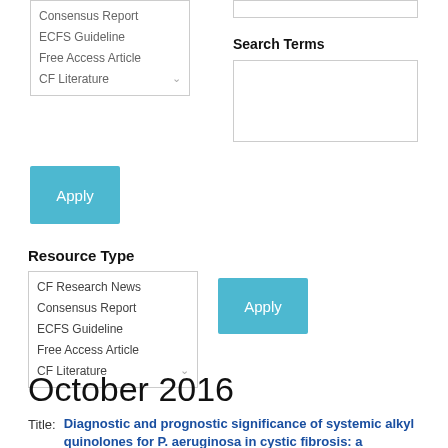Consensus Report
ECFS Guideline
Free Access Article
CF Literature
Search Terms
[Figure (screenshot): Apply button (teal/cyan background, white text)]
Resource Type
CF Research News
Consensus Report
ECFS Guideline
Free Access Article
CF Literature
[Figure (screenshot): Apply button (teal/cyan background, white text)]
October 2016
Title:  Diagnostic and prognostic significance of systemic alkyl quinolones for P. aeruginosa in cystic fibrosis: a